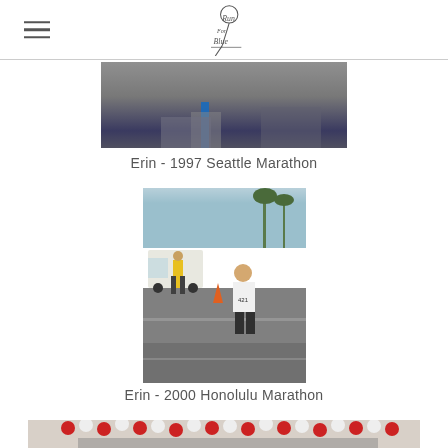[Figure (photo): Partial top crop of a marathon photo - 1997 Seattle Marathon, runner in blue]
Erin - 1997 Seattle Marathon
[Figure (photo): Woman running in a marathon race wearing bib number 421, street with palm trees and a van visible, tropical setting - 2000 Honolulu Marathon]
Erin - 2000 Honolulu Marathon
[Figure (photo): Partial bottom crop showing red and white balloons and crowd at a marathon finish line area]